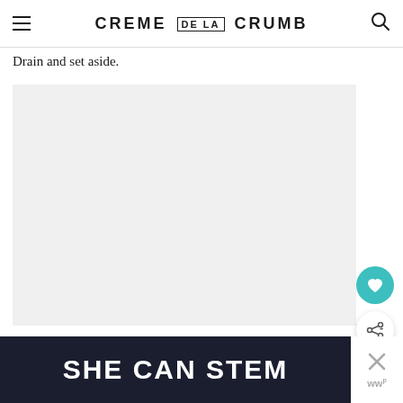CREME DE LA CRUMB
Drain and set aside.
[Figure (photo): Large food photograph area, light gray placeholder]
[Figure (infographic): What's Next panel showing Herb Butter Salmon and... with thumbnail image]
[Figure (screenshot): Advertisement banner with dark background reading SHE CAN STEM with close button]